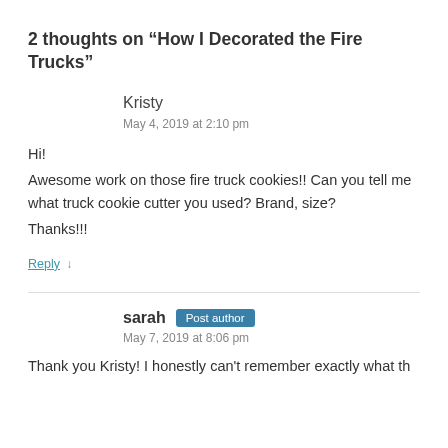2 thoughts on “How I Decorated the Fire Trucks”
Kristy
May 4, 2019 at 2:10 pm
Hi!
Awesome work on those fire truck cookies!! Can you tell me what truck cookie cutter you used? Brand, size?
Thanks!!!
Reply ↓
sarah  Post author
May 7, 2019 at 8:06 pm
Thank you Kristy! I honestly can’t remember exactly what...